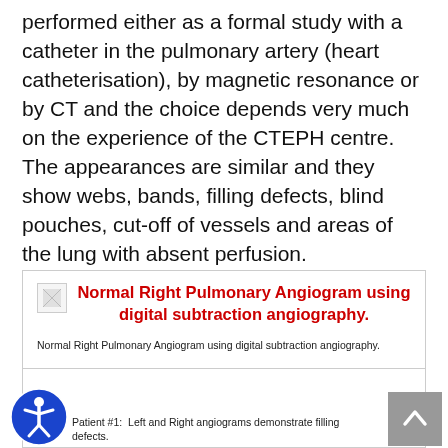performed either as a formal study with a catheter in the pulmonary artery (heart catheterisation), by magnetic resonance or by CT and the choice depends very much on the experience of the CTEPH centre. The appearances are similar and they show webs, bands, filling defects, blind pouches, cut-off of vessels and areas of the lung with absent perfusion.
[Figure (photo): Normal Right Pulmonary Angiogram using digital subtraction angiography. Box with image placeholder and red title text.]
Normal Right Pulmonary Angiogram using digital subtraction angiography.
[Figure (photo): Patient #1: Left and Right angiograms demonstrate filling defects. Second figure box partially visible at bottom of page.]
Patient #1: Left and Right angiograms demonstrate filling defects.